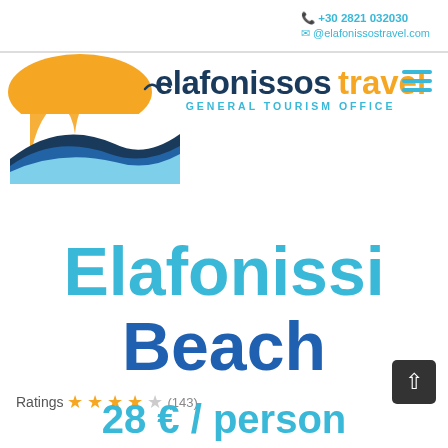+30 2821 032030 | @elafonissostravel.com
[Figure (logo): Elafonissos Travel logo with wave graphic and text 'elafonissos travel GENERAL TOURISM OFFICE']
Elafonissi Beach
Ratings ★★★★☆ (143)
28 € / person